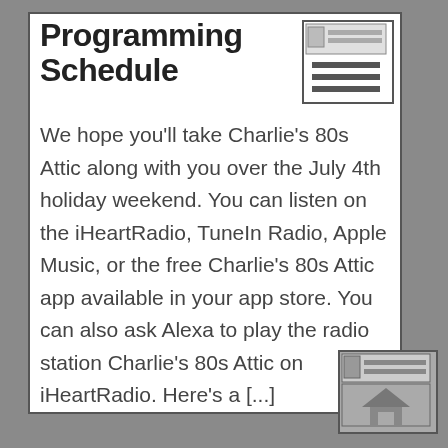Programming Schedule
[Figure (screenshot): Navigation/menu icon with horizontal lines]
We hope you'll take Charlie's 80s Attic along with you over the July 4th holiday weekend. You can listen on the iHeartRadio, TuneIn Radio, Apple Music, or the free Charlie's 80s Attic app available in your app store. You can also ask Alexa to play the radio station Charlie's 80s Attic on iHeartRadio. Here's a [...]
[Figure (screenshot): Navigation/home icon at bottom right]